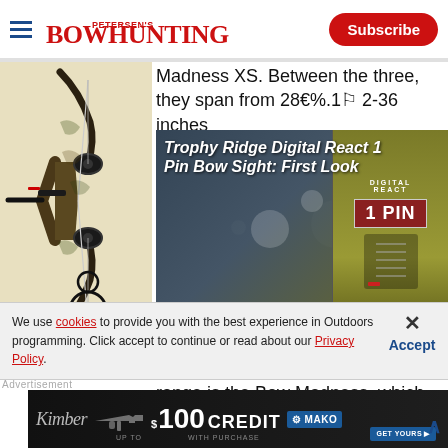Petersen's Bowhunting — Subscribe
[Figure (photo): Compound bow (camo finish) hanging vertically against white background — PSE Bow Madness model]
Madness XS. Between the three, they span from 28€%.1⚐ 2-36 inches
[Figure (screenshot): Video player showing Trophy Ridge Digital React 1 Pin Bow Sight: First Look — timestamp 00:00 / 04:32, paused state with video controls bar]
PSE's Bow
range is the Bow Madness, which
We use cookies to provide you with the best experience in Outdoors programming. Click accept to continue or read about our Privacy Policy.
Advertisement
[Figure (photo): Kimber advertisement — $100 credit with purchase — Mako brand — UP TO $100 CREDIT WITH PURCHASE, GET YOURS button]